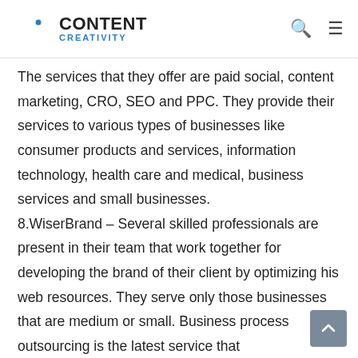Content Creativity
The services that they offer are paid social, content marketing, CRO, SEO and PPC. They provide their services to various types of businesses like consumer products and services, information technology, health care and medical, business services and small businesses. 8.WiserBrand – Several skilled professionals are present in their team that work together for developing the brand of their client by optimizing his web resources. They serve only those businesses that are medium or small. Business process outsourcing is the latest service that